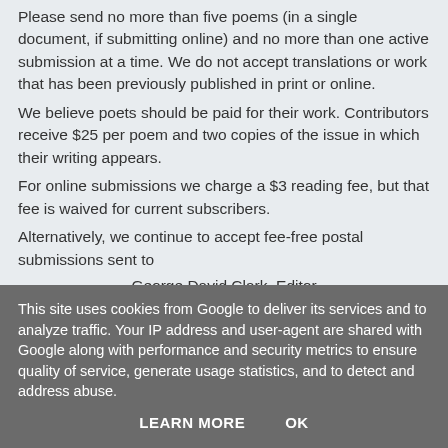Please send no more than five poems (in a single document, if submitting online) and no more than one active submission at a time. We do not accept translations or work that has been previously published in print or online. We believe poets should be paid for their work. Contributors receive $25 per poem and two copies of the issue in which their writing appears. For online submissions we charge a $3 reading fee, but that fee is waived for current subscribers. Alternatively, we continue to accept fee-free postal submissions sent to
George David Clark, Editor
This site uses cookies from Google to deliver its services and to analyze traffic. Your IP address and user-agent are shared with Google along with performance and security metrics to ensure quality of service, generate usage statistics, and to detect and address abuse.
LEARN MORE   OK